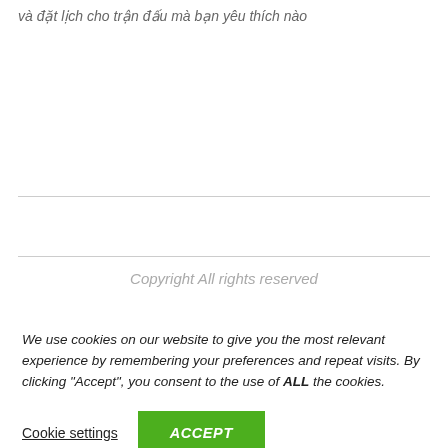và đặt lịch cho trận đấu mà bạn yêu thích nào
Copyright All rights reserved
We use cookies on our website to give you the most relevant experience by remembering your preferences and repeat visits. By clicking “Accept”, you consent to the use of ALL the cookies.
Cookie settings
ACCEPT